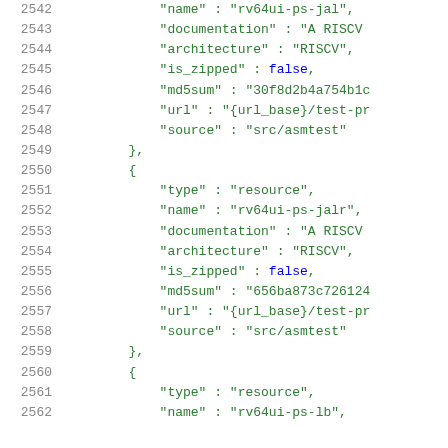Code listing lines 2542-2562 showing JSON resource entries for RISC-V test programs rv64ui-ps-jal, rv64ui-ps-jalr, and rv64ui-ps-lb